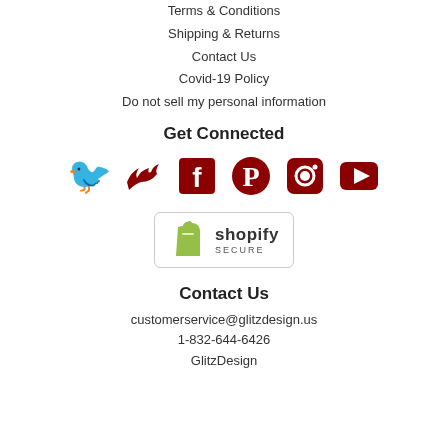Terms & Conditions
Shipping & Returns
Contact Us
Covid-19 Policy
Do not sell my personal information
Get Connected
[Figure (logo): Social media icons: Twitter, Facebook, Pinterest, Instagram, YouTube — all in dark red/maroon color]
[Figure (logo): Shopify Secure badge with green shopping bag logo and text 'shopify SECURE']
Contact Us
customerservice@glitzdesign.us
1-832-644-6426
GlitzDesign